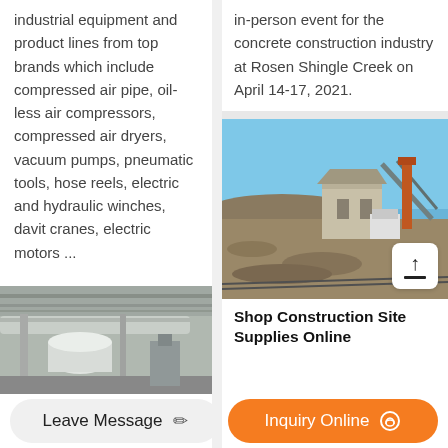industrial equipment and product lines from top brands which include compressed air pipe, oil-less air compressors, compressed air dryers, vacuum pumps, pneumatic tools, hose reels, electric and hydraulic winches, davit cranes, electric motors ...
in-person event for the concrete construction industry at Rosen Shingle Creek on April 14-17, 2021.
[Figure (photo): Construction site with aggregate/gravel piles and industrial machinery under blue sky]
Shop Construction Site Supplies Online
[Figure (photo): Industrial warehouse interior with pipes and equipment]
Leave Message
Inquiry Online